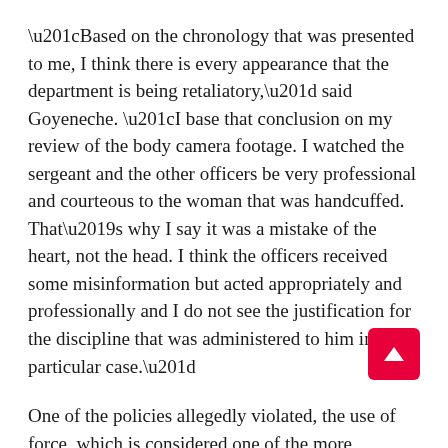“Based on the chronology that was presented to me, I think there is every appearance that the department is being retaliatory,” said Goyeneche. “I base that conclusion on my review of the body camera footage. I watched the sergeant and the other officers be very professional and courteous to the woman that was handcuffed. That’s why I say it was a mistake of the heart, not the head. I think the officers received some misinformation but acted appropriately and professionally and I do not see the justification for the discipline that was administered to him in this particular case.”
One of the policies allegedly violated, the use of force, which is considered one of the more egregious violations, the department’s own defensive tactics instructor said in Dauthier’s report that the instructor